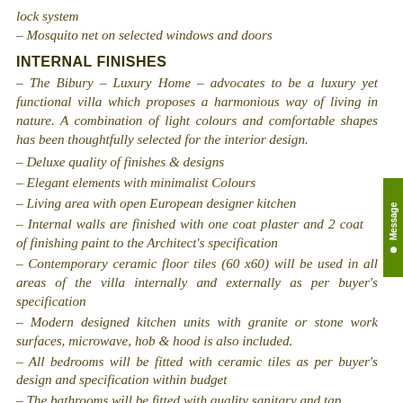lock system
– Mosquito net on selected windows and doors
INTERNAL FINISHES
– The Bibury – Luxury Home – advocates to be a luxury yet functional villa which proposes a harmonious way of living in nature. A combination of light colours and comfortable shapes has been thoughtfully selected for the interior design.
– Deluxe quality of finishes & designs
– Elegant elements with minimalist Colours
– Living area with open European designer kitchen
– Internal walls are finished with one coat plaster and 2 coat of finishing paint to the Architect's specification
– Contemporary ceramic floor tiles (60 x60) will be used in all areas of the villa internally and externally as per buyer's specification
– Modern designed kitchen units with granite or stone work surfaces, microwave, hob & hood is also included.
– All bedrooms will be fitted with ceramic tiles as per buyer's design and specification within budget
– The bathrooms will be fitted with quality sanitary and tap